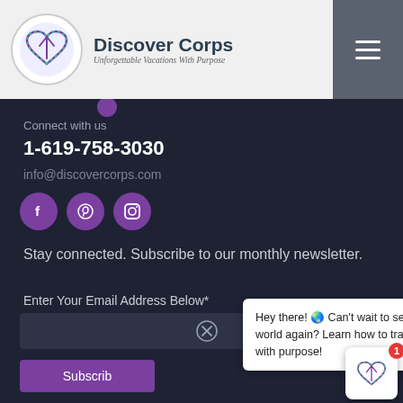[Figure (logo): Discover Corps logo with intertwined heart/compass icon, brand name and tagline 'Unforgettable Vacations With Purpose']
Connect with us
1-619-758-3030
info@discovercorps.com
[Figure (other): Three purple social media icons: Facebook, Pinterest, Instagram]
Stay connected. Subscribe to our monthly newsletter.
Enter Your Email Address Below*
Subscribe
Hey there! 🌏 Can't wait to see the world again? Learn how to travel with purpose!